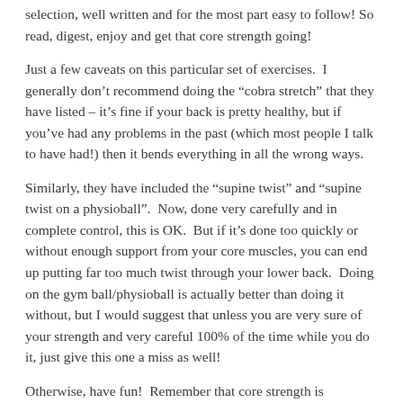selection, well written and for the most part easy to follow! So read, digest, enjoy and get that core strength going!
Just a few caveats on this particular set of exercises.  I generally don’t recommend doing the “cobra stretch” that they have listed – it’s fine if your back is pretty healthy, but if you’ve had any problems in the past (which most people I talk to have had!) then it bends everything in all the wrong ways.
Similarly, they have included the “supine twist” and “supine twist on a physioball”.  Now, done very carefully and in complete control, this is OK.  But if it’s done too quickly or without enough support from your core muscles, you can end up putting far too much twist through your lower back.  Doing on the gym ball/physioball is actually better than doing it without, but I would suggest that unless you are very sure of your strength and very careful 100% of the time while you do it, just give this one a miss as well!
Otherwise, have fun!  Remember that core strength is something to continually work on, you are better at least occasionally attending a class, and the more variety you work in to your routine the better.